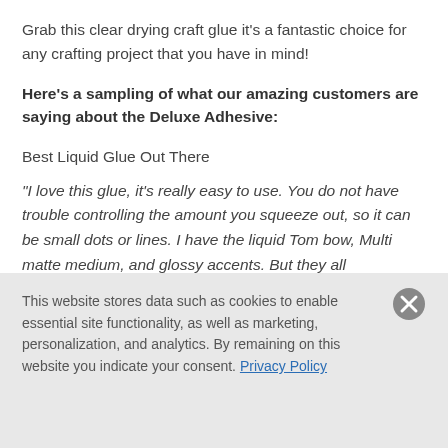Grab this clear drying craft glue it's a fantastic choice for any crafting project that you have in mind!
Here's a sampling of what our amazing customers are saying about the Deluxe Adhesive:
Best Liquid Glue Out There
"I love this glue, it's really easy to use. You do not have trouble controlling the amount you squeeze out, so it can be small dots or lines. I have the liquid Tom bow, Multi matte medium, and glossy accents. But they all
This website stores data such as cookies to enable essential site functionality, as well as marketing, personalization, and analytics. By remaining on this website you indicate your consent. Privacy Policy